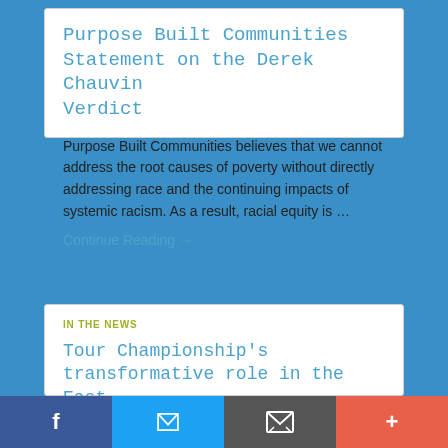Purpose Built Communities Statement on the Derek Chauvin Verdict
Purpose Built Communities believes that we cannot address the root causes of poverty without directly addressing race and the continuing impacts of systemic racism. As a result, racial equity is …
Continue Reading →
IN THE NEWS
Tour Championship's transformative role in the East
f  🐦  ✉  +